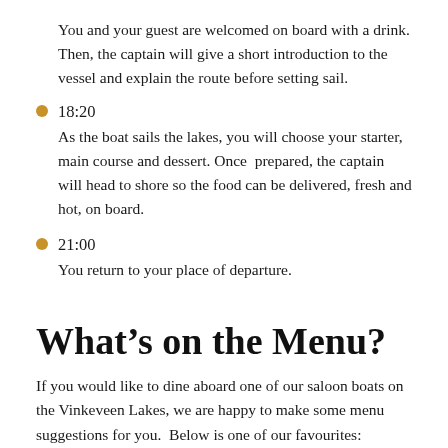You and your guest are welcomed on board with a drink. Then, the captain will give a short introduction to the vessel and explain the route before setting sail.
18:20
As the boat sails the lakes, you will choose your starter, main course and dessert. Once  prepared, the captain will head to shore so the food can be delivered, fresh and hot, on board.
21:00
You return to your place of departure.
What’s on the Menu?
If you would like to dine aboard one of our saloon boats on the Vinkeveen Lakes, we are happy to make some menu suggestions for you.  Below is one of our favourites: